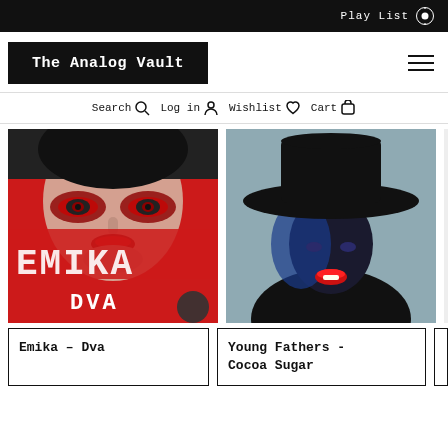Play List
The Analog Vault
Search  Log in  Wishlist  Cart
[Figure (photo): Emika DVA album cover - close-up of a woman's face with dramatic red and black makeup, 'EMIKA DVA' text overlaid in bold white letters]
[Figure (photo): Young Fathers - Cocoa Sugar album cover - figure wearing a wide-brimmed black cowboy hat against a grey background with dramatic blue and red lighting on face]
Emika – Dva
Young Fathers - Cocoa Sugar